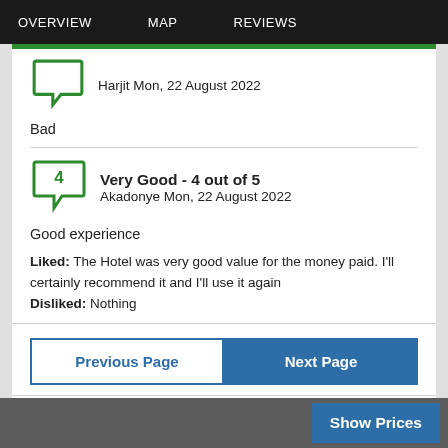OVERVIEW   MAP   REVIEWS
Harjit Mon, 22 August 2022
Bad
Very Good - 4 out of 5
Akadonye Mon, 22 August 2022
Good experience
Liked: The Hotel was very good value for the money paid. I'll certainly recommend it and I'll use it again
Disliked: Nothing
Previous Page   Next Page
Show Prices